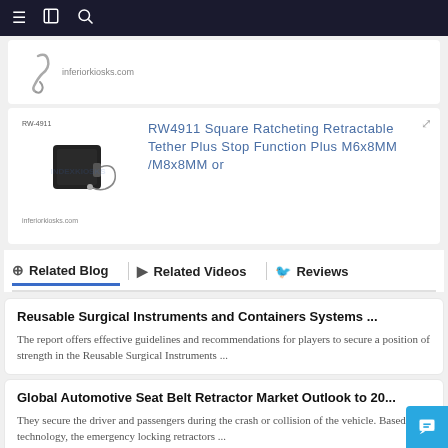Navigation bar with hamburger menu, book icon, and search icon
[Figure (photo): Partial view of a product card showing a gray curved hook/clip product image and a small URL watermark at bottom left]
[Figure (photo): RW4911 product card showing a black square ratcheting retractable tether device with wire, watermark INDEXKIOSKS, label RW-4911 top left, and URL bottom left. Expand icon top right.]
RW4911 Square Ratcheting Retractable Tether Plus Stop Function Plus M6x8MM /M8x8MM or
⊕ Related Blog   ▶ Related Videos   🐦 Reviews
Reusable Surgical Instruments and Containers Systems ...
The report offers effective guidelines and recommendations for players to secure a position of strength in the Reusable Surgical Instruments ...
Global Automotive Seat Belt Retractor Market Outlook to 20...
They secure the driver and passengers during the crash or collision of the vehicle. Based on technology, the emergency locking retractors ...
Globus Medical (GMED) Q1 2021 Earnings Call Transcrip